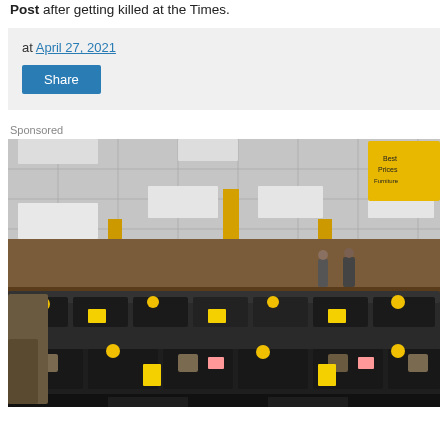Post after getting killed at the Times.
at April 27, 2021
Share
Sponsored
[Figure (photo): Interior of a furniture store showroom with dark leather sofas and sectionals displayed on the floor. Yellow price tags and yellow balloons are attached to the furniture. The store has a drop ceiling with recessed lighting panels. Yellow support columns are visible. A yellow banner sign is visible in the upper right corner. Customers can be seen in the background.]